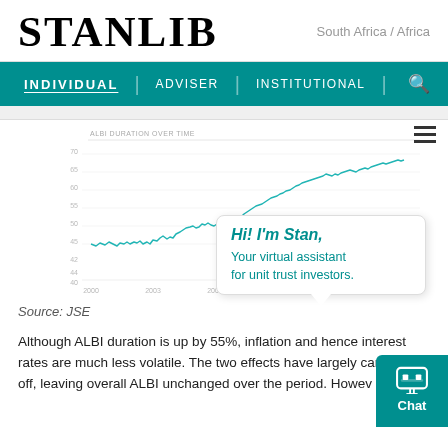STANLIB
South Africa / Africa
INDIVIDUAL | ADVISER | INSTITUTIONAL | Search
[Figure (continuous-plot): ALBI Duration Over Time line chart showing values from approximately 40 to 65+ over the period 2000 to 2014, with an overall upward trend from around 45 to above 60.]
Source: JSE
Although ALBI duration is up by 55%, inflation and hence interest rates are much less volatile. The two effects have largely cancelled off, leaving overall ALBI unchanged over the period. Howev...